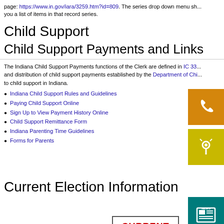page: https://www.in.gov/iara/3259.htm?id=809. The series drop down menu sh... you a list of items in that record series.
Child Support
Child Support Payments and Links
The Indiana Child Support Payments functions of the Clerk are defined in IC 33... and distribution of child support payments established by the Department of Chi... to child support in Indiana.
Indiana Child Support Rules and Guidelines
Paying Child Support Online
Sign Up to View Payment History Online
Child Support Remittance Form
Indiana Parenting Time Guidelines
Forms for Parents
[Figure (illustration): Orange phone icon]
[Figure (illustration): Yellow-green map/location icon]
Current Election Information
[Figure (illustration): Teal news/newspaper icon]
[Figure (illustration): Box with CURRENT text in red]